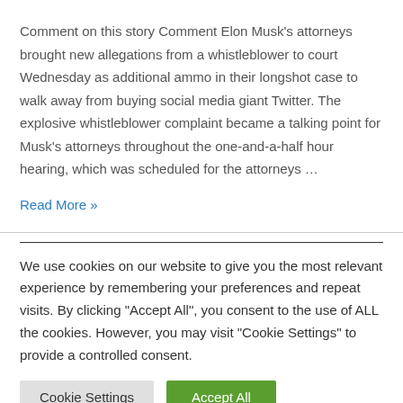Comment on this story Comment Elon Musk's attorneys brought new allegations from a whistleblower to court Wednesday as additional ammo in their longshot case to walk away from buying social media giant Twitter. The explosive whistleblower complaint became a talking point for Musk's attorneys throughout the one-and-a-half hour hearing, which was scheduled for the attorneys …
Read More »
We use cookies on our website to give you the most relevant experience by remembering your preferences and repeat visits. By clicking "Accept All", you consent to the use of ALL the cookies. However, you may visit "Cookie Settings" to provide a controlled consent.